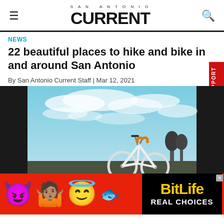SAN ANTONIO CURRENT
NEWS
22 beautiful places to hike and bike in and around San Antonio
By San Antonio Current Staff | Mar 12, 2021
[Figure (photo): A road bicycle photographed against a cloudy blue sky with bare trees in the background]
[Figure (infographic): BitLife advertisement banner: red background with devil emoji, person with hands up emoji, angel emoji, sperm emoji and BitLife logo with 'REAL CHOICES' text]